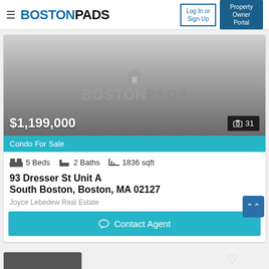BOSTONPADS — Log In or Sign Up | Property Owner Portal
[Figure (screenshot): Boston Pads watermark placeholder image with gradient background, showing price $1,199,000 and photo count 31]
Condo For Sale
5 Beds   2 Baths   1836 sqft
93 Dresser St Unit A
South Boston, Boston, MA 02127
Joyce Lebedew Real Estate
Contact Agent